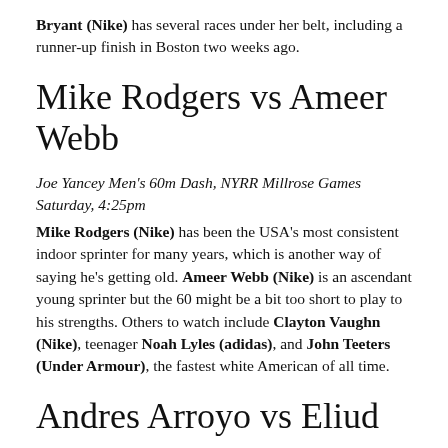Bryant (Nike) has several races under her belt, including a runner-up finish in Boston two weeks ago.
Mike Rodgers vs Ameer Webb
Joe Yancey Men's 60m Dash, NYRR Millrose Games
Saturday, 4:25pm
Mike Rodgers (Nike) has been the USA's most consistent indoor sprinter for many years, which is another way of saying he's getting old. Ameer Webb (Nike) is an ascendant young sprinter but the 60 might be a bit too short to play to his strengths. Others to watch include Clayton Vaughn (Nike), teenager Noah Lyles (adidas), and John Teeters (Under Armour), the fastest white American of all time.
Andres Arroyo vs Eliud